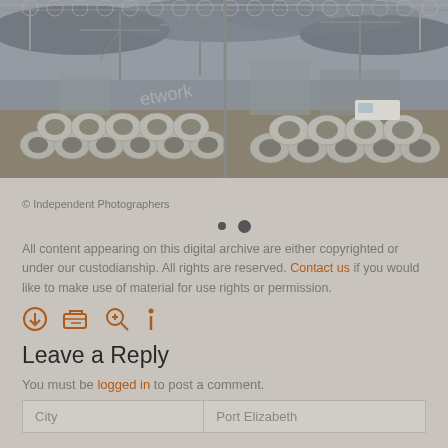[Figure (photo): Construction site photograph showing concrete pipes/culverts stacked in foreground, construction cranes and partially built structures in background, with razor wire fence in foreground against a cloudy sky.]
© Independent Photographers
All content appearing on this digital archive are either copyrighted or under our custodianship. All rights are reserved. Contact us if you would like to make use of material for use rights or permission.
[Figure (infographic): Icon row showing download, shopping cart, zoom/search, and info icons in orange/brown color]
Leave a Reply
You must be logged in to post a comment.
| City | Port Elizabeth |